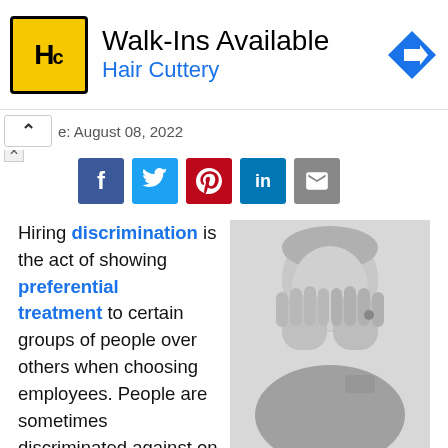[Figure (other): Hair Cuttery advertisement banner with yellow HC logo, text 'Walk-Ins Available' and 'Hair Cuttery' in blue, and a blue direction arrow icon on the right.]
e: August 08, 2022
[Figure (other): Social share buttons: Facebook (blue), Twitter (light blue), Pinterest (red), LinkedIn (dark blue), Email (grey)]
Hiring discrimination is the act of showing preferential treatment to certain groups of people over others when choosing employees. People are sometimes discriminated against on the basis of factors like race, lifestyle, age, or gender, and many
[Figure (photo): Black and white photo of an elderly woman with short grey hair, covering her face with her hands in distress.]